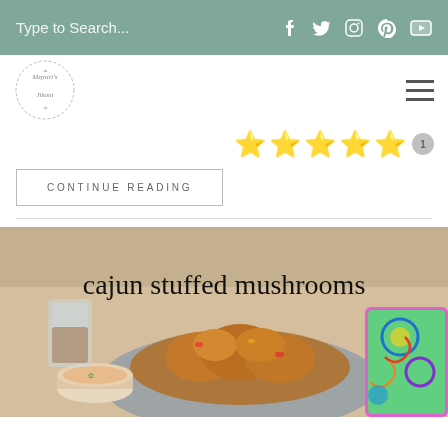Type to Search... [social icons: Facebook, Twitter, Instagram, Pinterest, YouTube]
[Figure (logo): Circular logo with decorative border text reading 'Mayuri's Jikoni' in cursive style]
[Figure (other): Five gold star rating icons followed by a review count badge showing '1']
CONTINUE READING
[Figure (photo): Food photo of cajun stuffed mushrooms on a plate with dipping sauce and a colorful patterned napkin. Text overlay reads 'cajun stuffed mushrooms']